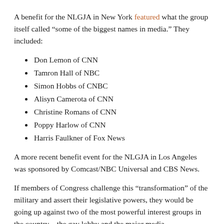A benefit for the NLGJA in New York featured what the group itself called “some of the biggest names in media.” They included:
Don Lemon of CNN
Tamron Hall of NBC
Simon Hobbs of CNBC
Alisyn Camerota of CNN
Christine Romans of CNN
Poppy Harlow of CNN
Harris Faulkner of Fox News
A more recent benefit event for the NLGJA in Los Angeles was sponsored by Comcast/NBC Universal and CBS News.
If members of Congress challenge this “transformation” of the military and assert their legislative powers, they would be going up against two of the most powerful interest groups in the country—the gay lobby and the major media.
So they take the easy way out by asking a few questions and meekly requesting hearings.